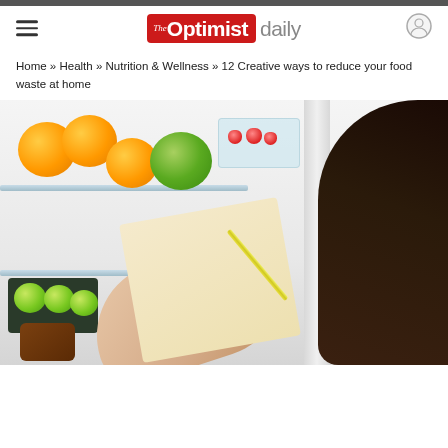The Optimist daily
Home » Health » Nutrition & Wellness » 12 Creative ways to reduce your food waste at home
[Figure (photo): A person holding a notepad and pencil while looking into an open refrigerator stocked with oranges, limes, a green melon, strawberries in a container, and other produce.]